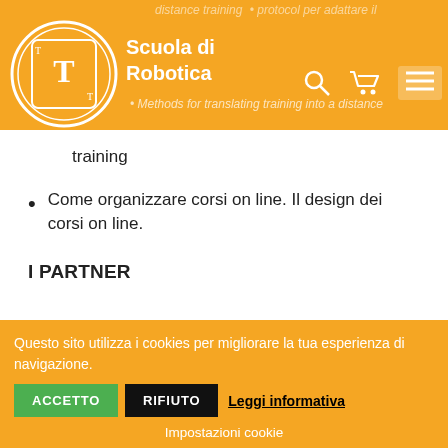Scuola di Robotica
Methods for translating training into a distance training
Come organizzare corsi on line. Il design dei corsi on line.
I PARTNER
La Ligue de L'enseignement – Coordinatore https://laligue.org/
Questo sito utilizza i cookies per migliorare la tua esperienza di navigazione.
ACCETTO  RIFIUTO  Leggi informativa
Impostazioni cookie